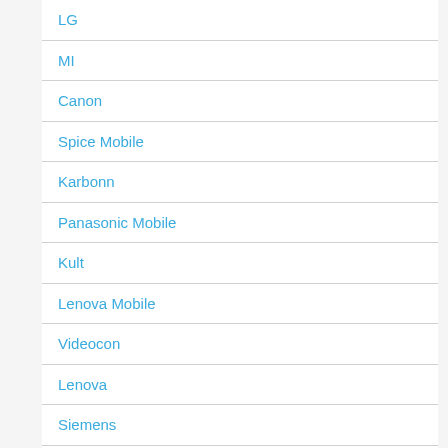LG
MI
Canon
Spice Mobile
Karbonn
Panasonic Mobile
Kult
Lenova Mobile
Videocon
Lenova
Siemens
Zen Mobile
ZTE
Videocon Telecom